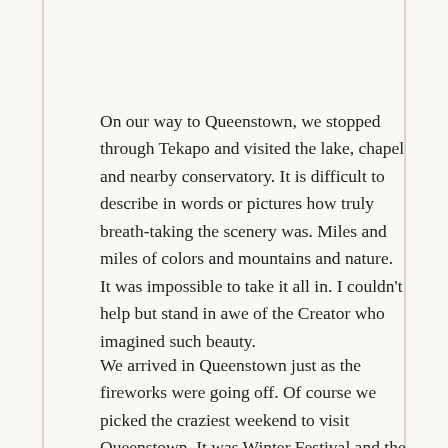On our way to Queenstown, we stopped through Tekapo and visited the lake, chapel and nearby conservatory. It is difficult to describe in words or pictures how truly breath-taking the scenery was. Miles and miles of colors and mountains and nature. It was impossible to take it all in. I couldn't help but stand in awe of the Creator who imagined such beauty.
We arrived in Queenstown just as the fireworks were going off. Of course we picked the craziest weekend to visit Queenstown. It was Winter Festival and the quaint